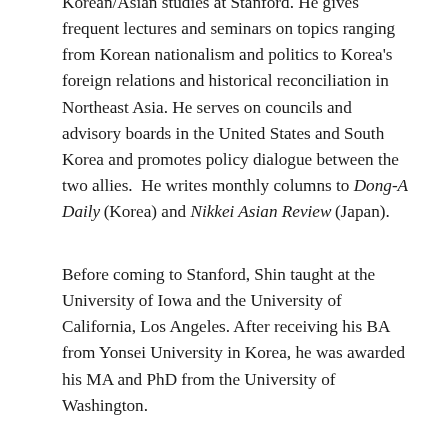Korean/Asian studies at Stanford. He gives frequent lectures and seminars on topics ranging from Korean nationalism and politics to Korea's foreign relations and historical reconciliation in Northeast Asia. He serves on councils and advisory boards in the United States and South Korea and promotes policy dialogue between the two allies. He writes monthly columns to Dong-A Daily (Korea) and Nikkei Asian Review (Japan).
Before coming to Stanford, Shin taught at the University of Iowa and the University of California, Los Angeles. After receiving his BA from Yonsei University in Korea, he was awarded his MA and PhD from the University of Washington.